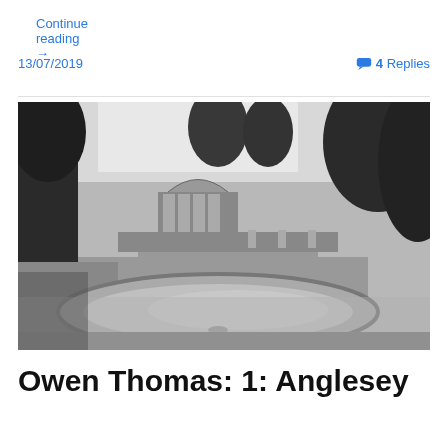Continue reading →
13/07/2019
💬 4 Replies
[Figure (photo): Black and white historical photograph of a formal garden featuring a circular pond in the foreground, ornamental urns, garden beds, and a large greenhouse or conservatory building in the background surrounded by trees.]
Owen Thomas: 1: Anglesey